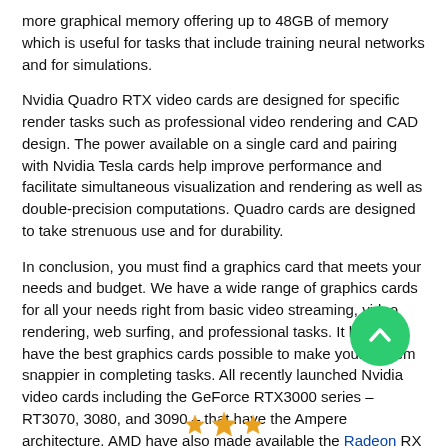more graphical memory offering up to 48GB of memory which is useful for tasks that include training neural networks and for simulations.
Nvidia Quadro RTX video cards are designed for specific render tasks such as professional video rendering and CAD design. The power available on a single card and pairing with Nvidia Tesla cards help improve performance and facilitate simultaneous visualization and rendering as well as double-precision computations. Quadro cards are designed to take strenuous use and for durability.
In conclusion, you must find a graphics card that meets your needs and budget. We have a wide range of graphics cards for all your needs right from basic video streaming, video rendering, web surfing, and professional tasks. It helps to have the best graphics cards possible to make your system snappier in completing tasks. All recently launched Nvidia video cards including the GeForce RTX3000 series – RT3070, 3080, and 3090 – that have the Ampere architecture. AMD have also made available the Radeon RX series that includes RX 6800, 6800 XT and 6900 XT based on the RDNA 2nd gen architecture targeting 4K gaming.